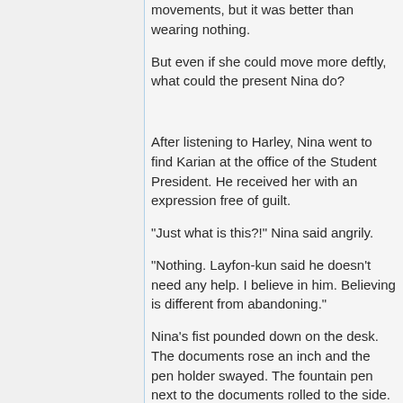movements, but it was better than wearing nothing.
But even if she could move more deftly, what could the present Nina do?
After listening to Harley, Nina went to find Karian at the office of the Student President. He received her with an expression free of guilt.
"Just what is this?!" Nina said angrily.
"Nothing. Layfon-kun said he doesn't need any help. I believe in him. Believing is different from abandoning."
Nina's fist pounded down on the desk. The documents rose an inch and the pen holder swayed. The fountain pen next to the documents rolled to the side.